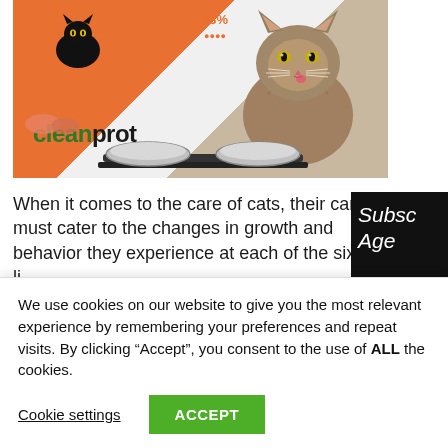[Figure (photo): A fluffy long-haired cat licking its lips sits behind two stainless steel pet food bowls on a stand, with an orange cat food bag labeled 'cleanprot' and '93%' visible in the background, and a black cat visible in the upper left.]
When it comes to the care of cats, their care must cater to the changes in growth and behavior they experience at each of the six life stages: kitten, junior, prime, mature, senior…
Subsc Age
We use cookies on our website to give you the most relevant experience by remembering your preferences and repeat visits. By clicking “Accept”, you consent to the use of ALL the cookies.
Cookie settings
ACCEPT